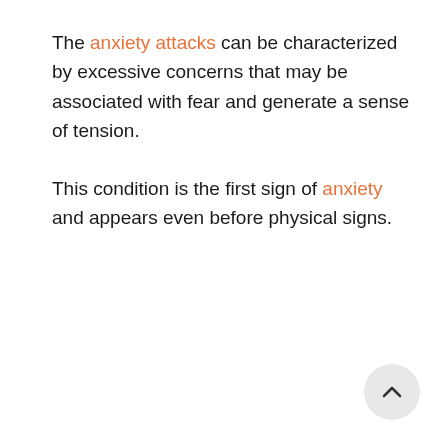The anxiety attacks can be characterized by excessive concerns that may be associated with fear and generate a sense of tension.
This condition is the first sign of anxiety and appears even before physical signs.